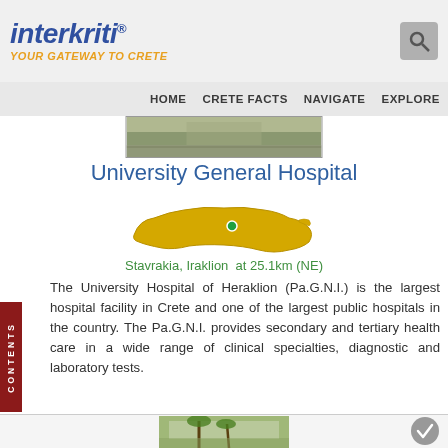interkriti® YOUR GATEWAY TO CRETE
HOME  CRETE FACTS  NAVIGATE  EXPLORE
[Figure (photo): Top image strip of a street or building exterior]
University General Hospital
[Figure (map): Map of Crete island shown in golden/yellow color with a green dot marker indicating location]
Stavrakia, Iraklion  at 25.1km (NE)
The University Hospital of Heraklion (Pa.G.N.I.) is the largest hospital facility in Crete and one of the largest public hospitals in the country. The Pa.G.N.I. provides secondary and tertiary health care in a wide range of clinical specialties, diagnostic and laboratory tests.
[Figure (photo): Bottom image showing a building with palm trees]
[Figure (other): Gray checkmark circle button]